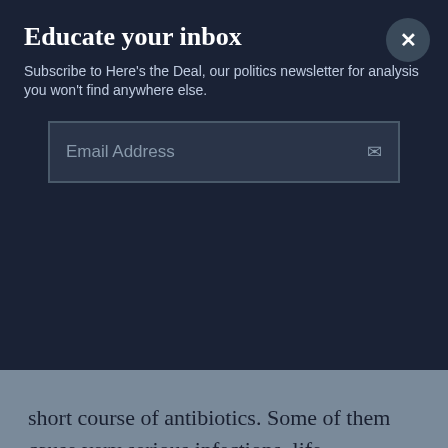Educate your inbox
Subscribe to Here's the Deal, our politics newsletter for analysis you won't find anywhere else.
Email Address
short course of antibiotics. Some of them cause very serious infections, life-threatening infections.
And, as you mentioned, we know that roughly 35,000 people every year don't survive one of these infections. So it's a huge gamut. But for each individual person, this is a serious occurrence, right? This is pain, it's suffering.